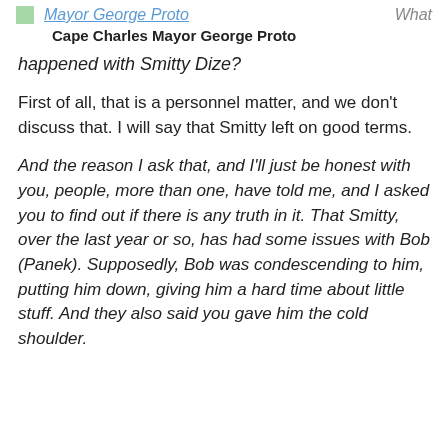Mayor George Proto   What
Cape Charles Mayor George Proto
happened with Smitty Dize?
First of all, that is a personnel matter, and we don't discuss that. I will say that Smitty left on good terms.
And the reason I ask that, and I'll just be honest with you, people, more than one, have told me, and I asked you to find out if there is any truth in it. That Smitty, over the last year or so, has had some issues with Bob (Panek). Supposedly, Bob was condescending to him, putting him down, giving him a hard time about little stuff. And they also said you gave him the cold shoulder.